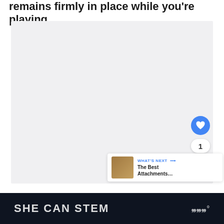remains firmly in place while you're playing.
[Figure (photo): Large light gray placeholder image area for a product photo]
WHAT'S NEXT → The Best Attachments…
SHE CAN STEM